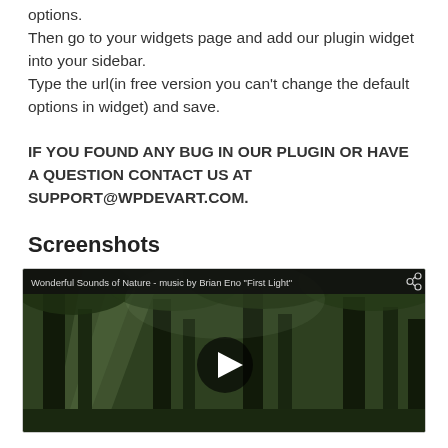options.
Then go to your widgets page and add our plugin widget into your sidebar.
Type the url(in free version you can’t change the default options in widget) and save.
IF YOU FOUND ANY BUG IN OUR PLUGIN OR HAVE A QUESTION CONTACT US AT SUPPORT@WPDEVART.COM.
Screenshots
[Figure (screenshot): Screenshot of a YouTube-style video player showing a forest nature scene titled 'Wonderful Sounds of Nature - music by Brian Eno "First Light"' with a play button in the center.]